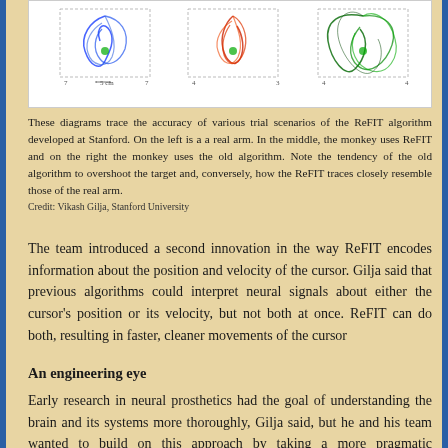[Figure (illustration): Three diagrams side by side showing movement traces: left shows real arm traces, middle shows ReFIT algorithm traces, right shows old algorithm traces, with colored lines and dotted boxes indicating target zones. Scale bar shows 5 cm.]
These diagrams trace the accuracy of various trial scenarios of the ReFIT algorithm developed at Stanford. On the left is a a real arm. In the middle, the monkey uses ReFIT and on the right the monkey uses the old algorithm. Note the tendency of the old algorithm to overshoot the target and, conversely, how the ReFIT traces closely resemble those of the real arm.
Credit: Vikash Gilja, Stanford University
The team introduced a second innovation in the way ReFIT encodes information about the position and velocity of the cursor. Gilja said that previous algorithms could interpret neural signals about either the cursor's position or its velocity, but not both at once. ReFIT can do both, resulting in faster, cleaner movements of the cursor
An engineering eye
Early research in neural prosthetics had the goal of understanding the brain and its systems more thoroughly, Gilja said, but he and his team wanted to build on this approach by taking a more pragmatic engineering perspective. "The core